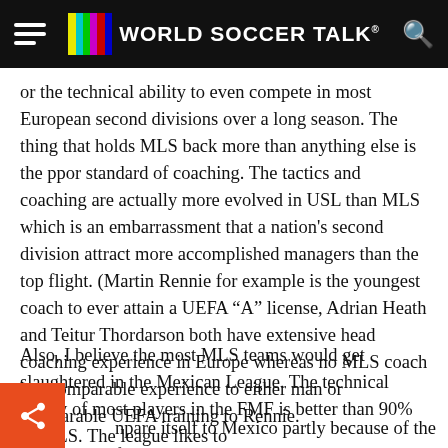World Soccer Talk
or the technical ability to even compete in most European second divisions over a long season. The thing that holds MLS back more than anything else is the ppor standard of coaching. The tactics and coaching are actually more evolved in USL than MLS which is an embarrassment that a nation’s second division attract more accomplished managers than the top flight. (Martin Rennie for example is the youngest coach to ever attain a UEFA “A” license, Adrian Heath and Teitur Thordarson both have extensive head coaching experience in Europe whereas no MLS coach has comparable experience to either man or comparable UEFA training to Rennie.
Also, I believe the most MLS teams would get slaughtered in the Mexican League. The technical ability of most players in the FMF is better than 90% of MLS. The league likes to compare itself to Mexico partly because of the financial strength but the fact is FMF/which is why MLS...